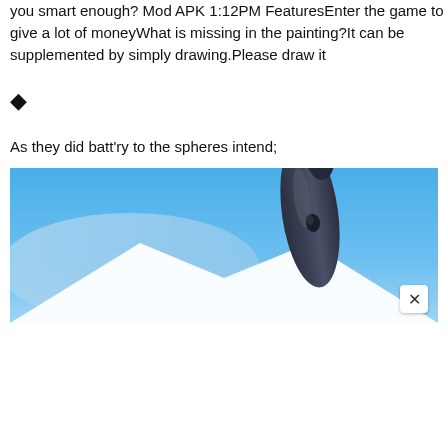you smart enough? Mod APK 1:12PM FeaturesEnter the game to give a lot of moneyWhat is missing in the painting?It can be supplemented by simply drawing.Please draw it
◆
As they did batt'ry to the spheres intend;
[Figure (photo): A photo of an aircraft nose/fuselage pointing upward against a blue sky background, with a white star or chevron shape visible. A close button (×) appears in the bottom-right corner of the image.]